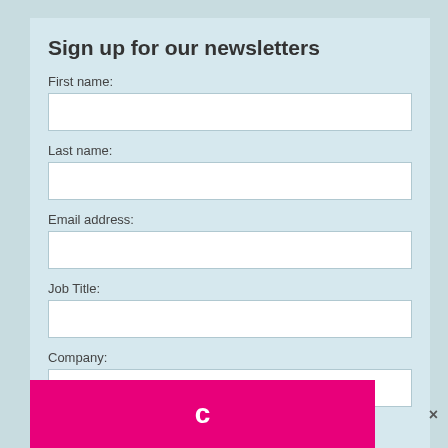Sign up for our newsletters
First name:
Last name:
Email address:
Job Title:
Company:
c
× The Daily Disruptor